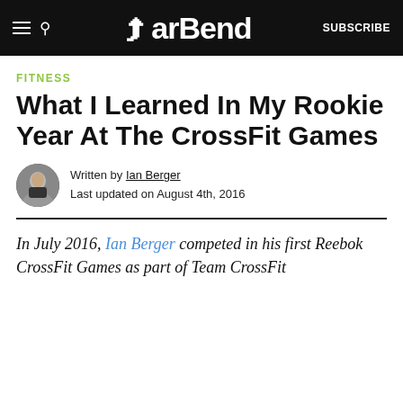BarBend | SUBSCRIBE
FITNESS
What I Learned In My Rookie Year At The CrossFit Games
Written by Ian Berger
Last updated on August 4th, 2016
In July 2016, Ian Berger competed in his first Reebok CrossFit Games as part of Team CrossFit Programming. Reported...